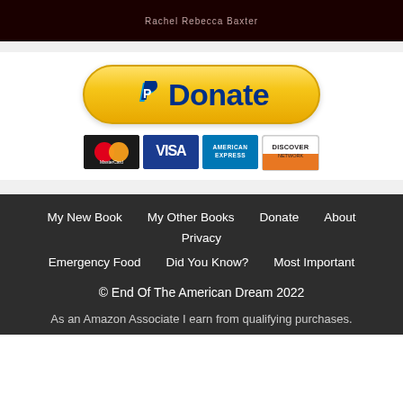[Figure (photo): Dark red/maroon book cover image with author name 'Rachel Rebecca Baxter' visible in light text]
[Figure (other): PayPal Donate button in gold/yellow rounded rectangle with PayPal 'P' logo and 'Donate' text in dark blue]
[Figure (other): Payment card logos: MasterCard, VISA, American Express, Discover Network]
My New Book  My Other Books  Donate  About  Privacy  Emergency Food  Did You Know?  Most Important  © End Of The American Dream 2022  As an Amazon Associate I earn from qualifying purchases.